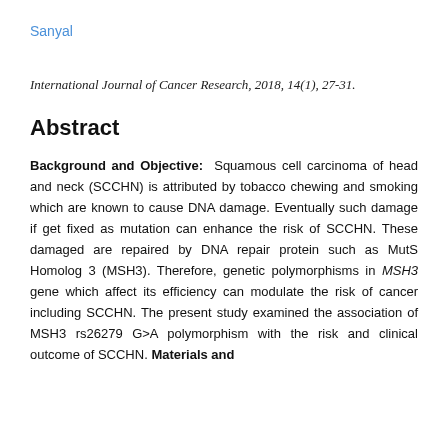Sanyal
International Journal of Cancer Research, 2018, 14(1), 27-31.
Abstract
Background and Objective: Squamous cell carcinoma of head and neck (SCCHN) is attributed by tobacco chewing and smoking which are known to cause DNA damage. Eventually such damage if get fixed as mutation can enhance the risk of SCCHN. These damaged are repaired by DNA repair protein such as MutS Homolog 3 (MSH3). Therefore, genetic polymorphisms in MSH3 gene which affect its efficiency can modulate the risk of cancer including SCCHN. The present study examined the association of MSH3 rs26279 G>A polymorphism with the risk and clinical outcome of SCCHN. Materials and